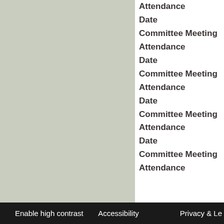[Figure (other): Gray/sage colored panel on the left side of the page]
Attendance
Date
Committee Meeting
Attendance
Date
Committee Meeting
Attendance
Date
Committee Meeting
Attendance
Date
Committee Meeting
Attendance
Enable high contrast    Accessibility    Privacy & Le